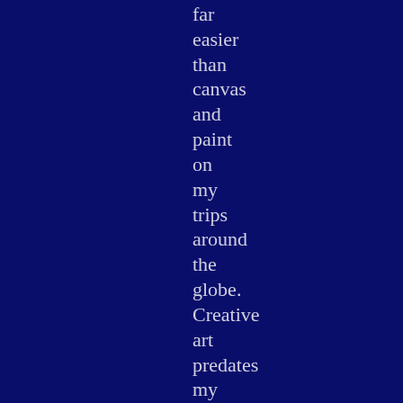far easier than canvas and paint on my trips around the globe. Creative art predates my professional writing by two decades.